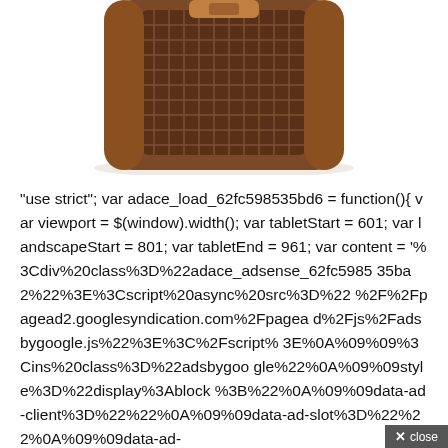[Figure (photo): Partial view of a brown leather watch strap or cuff bracelet with textured/mesh pattern, shown from above cropped at bottom of image area]
"use strict"; var adace_load_62fc598535bd6 = function(){ var viewport = $(window).width(); var tabletStart = 601; var landscapeStart = 801; var tabletEnd = 961; var content = '%3Cdiv%20class%3D%22adace_adsense_62fc598535ba2%22%3E%3Cscript%20async%20src%3D%22%2F%2Fpagead2.googlesyndication.com%2Fpagead%2Fjs%2Fadsbygoogle.js%22%3E%3C%2Fscript%3E%0A%09%09%3Cins%20class%3D%22adsbygoogle%22%0A%09%09style%3D%22display%3Ablock%3B%22%0A%09%09data-ad-client%3D%22%22%0A%09%09data-ad-slot%3D%22%22%0A%09%09data-ad-
× close